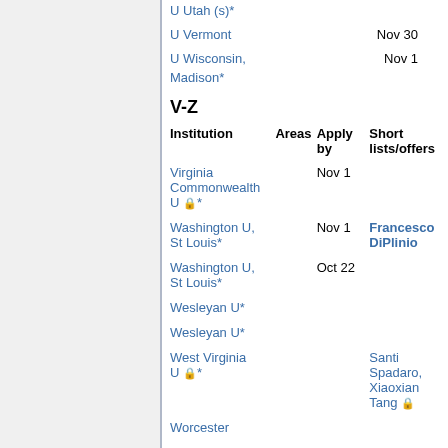U Utah (s)*
U Vermont   Nov 30
U Wisconsin, Madison*   Nov 1
V-Z
| Institution | Areas | Apply by | Short lists/offers |
| --- | --- | --- | --- |
| Virginia Commonwealth U 🔒* |  | Nov 1 |  |
| Washington U, St Louis* |  | Nov 1 | Francesco DiPlinio |
| Washington U, St Louis* |  | Oct 22 |  |
| Wesleyan U* |  |  |  |
| Wesleyan U* |  |  |  |
| West Virginia U 🔒* |  |  | Santi Spadaro, Xiaoxian Tang 🔒 |
| Worcester |  |  |  |